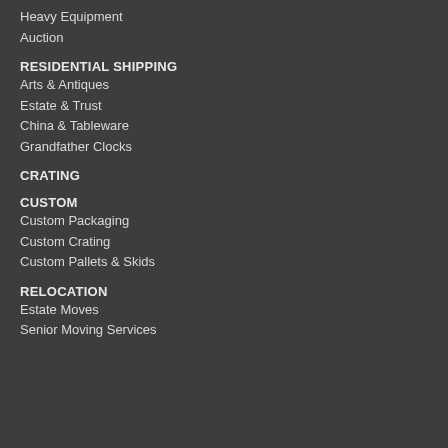Heavy Equipment
Auction
RESIDENTIAL SHIPPING
Arts & Antiques
Estate & Trust
China & Tableware
Grandfather Clocks
CRATING
CUSTOM
Custom Packaging
Custom Crating
Custom Pallets & Skids
RELOCATION
Estate Moves
Senior Moving Services